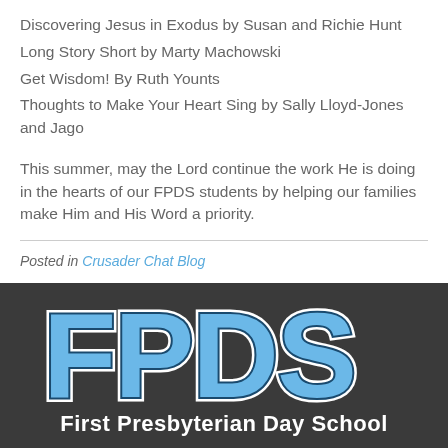Discovering Jesus in Exodus by Susan and Richie Hunt
Long Story Short by Marty Machowski
Get Wisdom! By Ruth Younts
Thoughts to Make Your Heart Sing by Sally Lloyd-Jones and Jago
This summer, may the Lord continue the work He is doing in the hearts of our FPDS students by helping our families make Him and His Word a priority.
Posted in Crusader Chat Blog
[Figure (logo): FPDS - First Presbyterian Day School logo with large blue block letters on dark gray background]